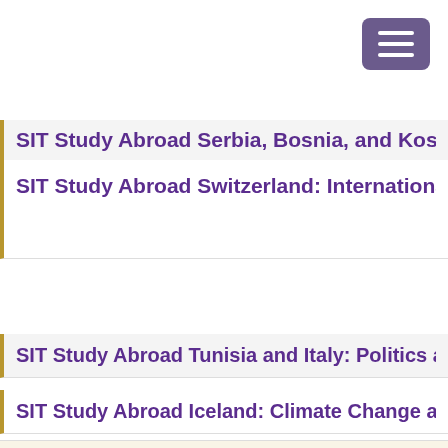SIT Study Abroad Serbia, Bosnia, and Kosovo: Pe
SIT Study Abroad Switzerland: International Stu
SIT Study Abroad Tunisia and Italy: Politics and P
SIT Study Abroad Iceland: Climate Change and t
This site uses cookies to ensure you get the best experience. READ COOKIE POLICY Accept? Yes No